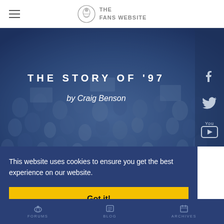THE FANS WEBSITE
[Figure (photo): Blue-tinted crowd photo of sports fans in stadium stands used as hero background image]
THE STORY OF '97
by Craig Benson
This website uses cookies to ensure you get the best experience on our website.
Got it!
FORUMS   BLOG   ARCHIVES